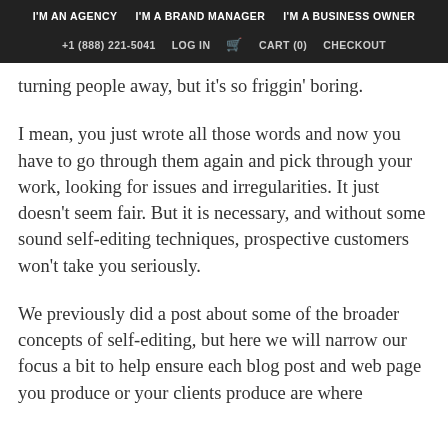I'M AN AGENCY  I'M A BRAND MANAGER  I'M A BUSINESS OWNER  +1 (888) 221-5041  LOG IN  CART (0)  CHECKOUT
turning people away, but it's so friggin' boring.
I mean, you just wrote all those words and now you have to go through them again and pick through your work, looking for issues and irregularities. It just doesn't seem fair. But it is necessary, and without some sound self-editing techniques, prospective customers won't take you seriously.
We previously did a post about some of the broader concepts of self-editing, but here we will narrow our focus a bit to help ensure each blog post and web page you produce or your clients produce are where